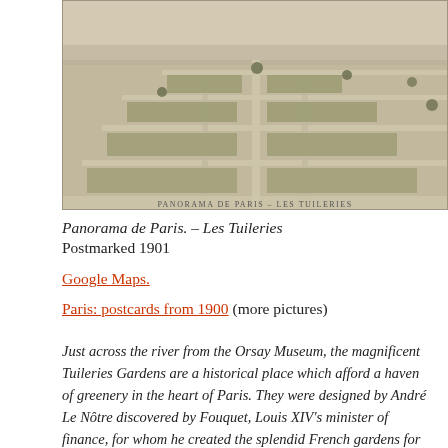[Figure (photo): Sepia-toned vintage postcard aerial/panoramic photograph of Les Tuileries gardens in Paris, with text 'PANORAMA DE PARIS – LES TUILERIES' printed at the bottom of the image.]
Panorama de Paris. – Les Tuileries
Postmarked 1901
Google Maps.
Paris: postcards from 1900 (more pictures)
Just across the river from the Orsay Museum, the magnificent Tuileries Gardens are a historical place which afford a haven of greenery in the heart of Paris. They were designed by André Le Nôtre discovered by Fouquet, Louis XIV's minister of finance, for whom he created the splendid French gardens for his château of Vaux le Vicomte. Le Nôtre, commissioned by Louis XIV, is best known for having landscaped the grounds of Versailles Palace. He gave Paris a royal garden which became a meeting-place for the art...